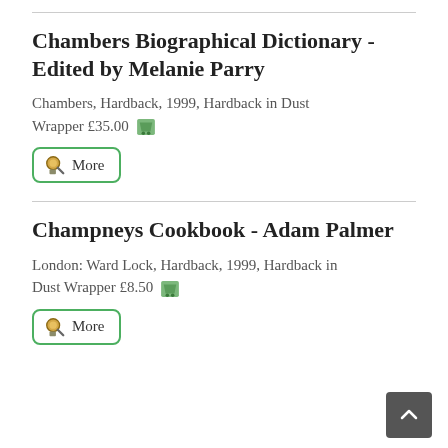Chambers Biographical Dictionary - Edited by Melanie Parry
Chambers, Hardback, 1999, Hardback in Dust Wrapper £35.00
More
Champneys Cookbook - Adam Palmer
London: Ward Lock, Hardback, 1999, Hardback in Dust Wrapper £8.50
More